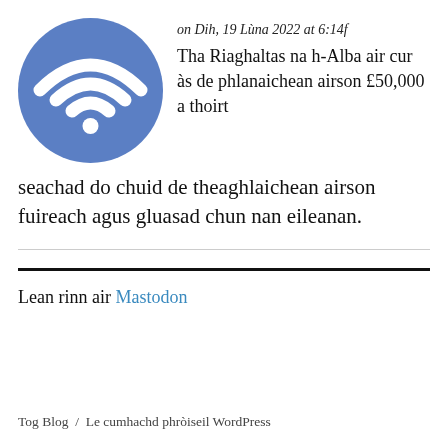[Figure (logo): Blue circular WiFi logo icon]
on Dih, 19 Lùna 2022 at 6:14f
Tha Riaghaltas na h-Alba air cur às de phlanaichean airson £50,000 a thoirt seachad do chuid de theaghlaichean airson fuireach agus gluasad chun nan eileanan.
Lean rinn air Mastodon
Tog Blog / Le cumhachd phròiseil WordPress